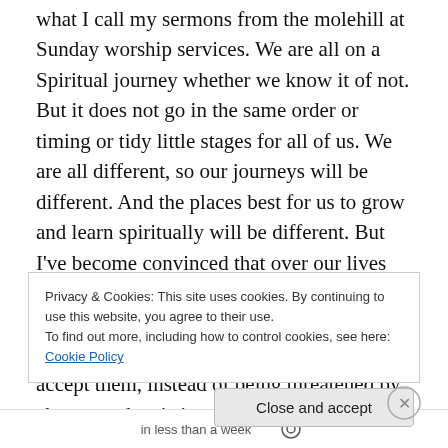what I call my sermons from the molehill at Sunday worship services. We are all on a Spiritual journey whether we know it of not. But it does not go in the same order or timing or tidy little stages for all of us. We are all different, so our journeys will be different. And the places best for us to grow and learn spiritually will be different. But I've become convinced that over our lives we will have challenges with opportunities to experience growth in all of these ways of being.  When we recognize these, we can accept them, instead of being threatened by change and resisting.  Then eventually we become able to recognize
Privacy & Cookies: This site uses cookies. By continuing to use this website, you agree to their use.
To find out more, including how to control cookies, see here: Cookie Policy
Close and accept
in less than a week